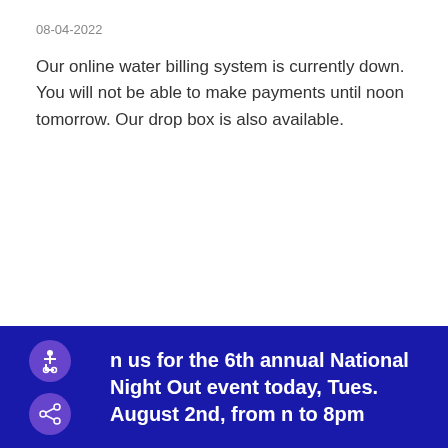08-04-2022
Our online water billing system is currently down. You will not be able to make payments until noon tomorrow. Our drop box is also available.
[Figure (photo): Two children smiling in front of a chain-link fence, a younger boy and an older girl wearing a white t-shirt with 'Dickies' logo.]
Join us for the 6th annual National Night Out event today, Tues. August 2nd, from 6pm to 8pm